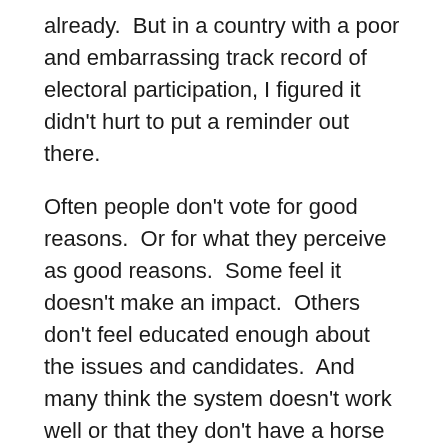already.  But in a country with a poor and embarrassing track record of electoral participation, I figured it didn't hurt to put a reminder out there.
Often people don't vote for good reasons.  Or for what they perceive as good reasons.  Some feel it doesn't make an impact.  Others don't feel educated enough about the issues and candidates.  And many think the system doesn't work well or that they don't have a horse in the race that actively represents them.
At their core, all of these reasons basically